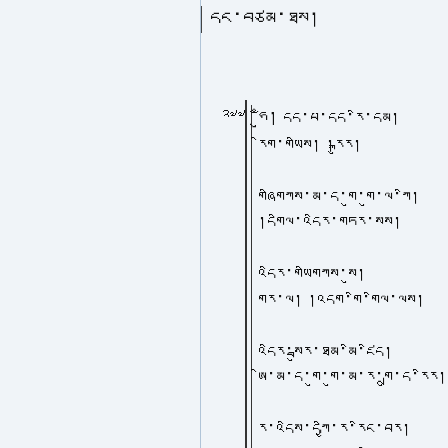དང་བཙམ་ཐས།
༢༧༧
ཧུྃ། དད་པ་དད་རི་དམ། རིག་གཡིས། །རྐུར།
གཞིགཀས་མ་ད་གུ་གུ་ལ་ཀི། །དགིལ་འདིར་གཏར་སས།
འདིར་གཡིགཀས་སུ། གར་ལ། །འདག་གི་གིལ་ལས།
འདིར་སྦུར་ཐམ་མི་ཛིད། ཨི་མ་ད་གུ་གུ་མ་ར་གྲུ་ད་རིར།
ར་འདིས་དཀྱི་ར་རིང་བར། ཤས་སྦྱུར་དད་དམ་ལིར།
འདྱིས་མ་ལ། ས་མ་ལ་ཀི།